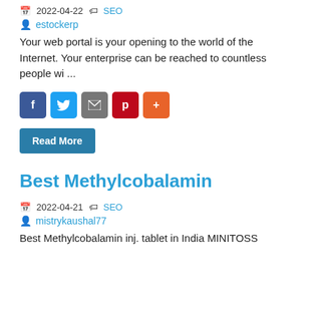2022-04-22  SEO
estockerp
Your web portal is your opening to the world of the Internet. Your enterprise can be reached to countless people wi ...
[Figure (other): Social share buttons: Facebook, Twitter, Email, Pinterest, Plus]
Read More
Best Methylcobalamin
2022-04-21  SEO
mistrykaushal77
Best Methylcobalamin inj. tablet in India MINITOSS